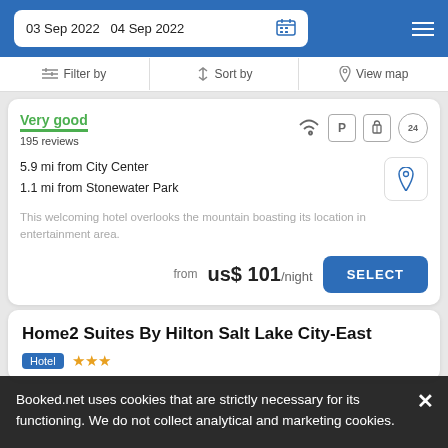03 Sep 2022  04 Sep 2022
Filter by  Sort by  View map
Very good
195 reviews
5.9 mi from City Center
1.1 mi from Stonewater Park
This welcoming hotel overlooks the mountain boasting its location in entertainment area.
from us$ 101/night
Home2 Suites By Hilton Salt Lake City-East
Hotel ★★★
Booked.net uses cookies that are strictly necessary for its functioning. We do not collect analytical and marketing cookies.